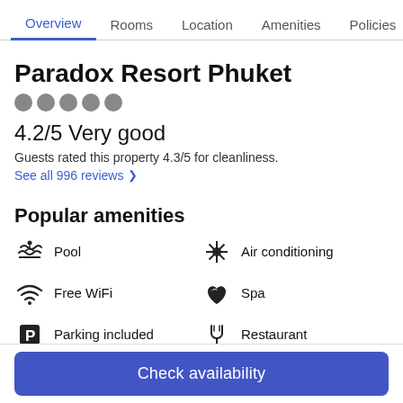Overview | Rooms | Location | Amenities | Policies | R
Paradox Resort Phuket
★★★★★ (5 star dots)
4.2/5 Very good
Guests rated this property 4.3/5 for cleanliness.
See all 996 reviews >
Popular amenities
Pool
Air conditioning
Free WiFi
Spa
Parking included
Restaurant
Check availability